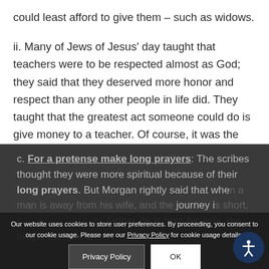could least afford to give them – such as widows.
ii. Many of Jews of Jesus' day taught that teachers were to be respected almost as God; they said that they deserved more honor and respect than any other people in life did. They taught that the greatest act someone could do is give money to a teacher. Of course, it was the teachers themselves who taught this!
c. For a pretense make long prayers: The scribes thought they were more spiritual because of their long prayers. But Morgan rightly said that when a man is away from his wife, and the journey is short, the letters are short – but the farther he is from his wife, the longer the letters
Our website uses cookies to store user preferences. By proceeding, you consent to our cookie usage. Please see our Privacy Policy for cookie usage details.